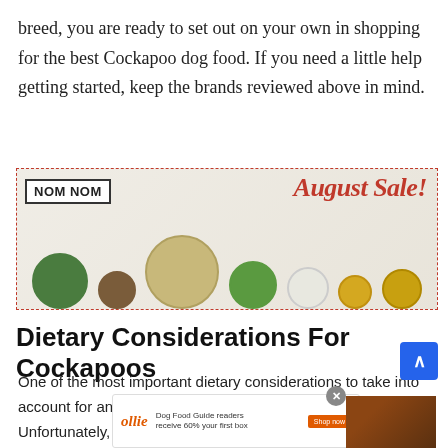breed, you are ready to set out on your own in shopping for the best Cockapoo dog food. If you need a little help getting started, keep the brands reviewed above in mind.
[Figure (photo): Advertisement banner for Nom Nom dog food showing bowls of ingredients with text 'August Sale!' in red cursive lettering and 'NOM NOM' logo.]
Dietary Considerations For Cockapoos
One of the most important dietary considerations to take into account for any dog breed is size. Unfortunately, this gets a bit tricky with the Cockapoo since this b
[Figure (photo): Ollie dog food advertisement banner at bottom of page showing logo, text 'Dog Food Guide readers receive 60% your first box', Shop now button, and food image.]